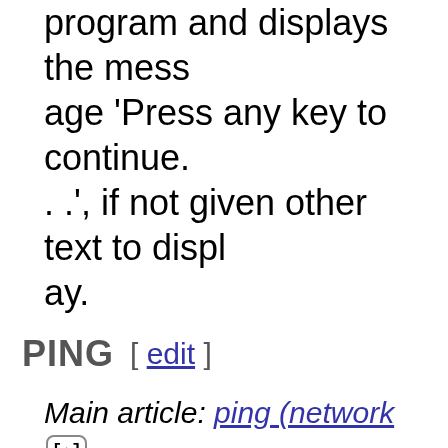program and displays the message 'Press any key to continue. . .', if not given other text to display.
PING [ edit ]
Main article: ping (network utility).
Allows the user to test the availa